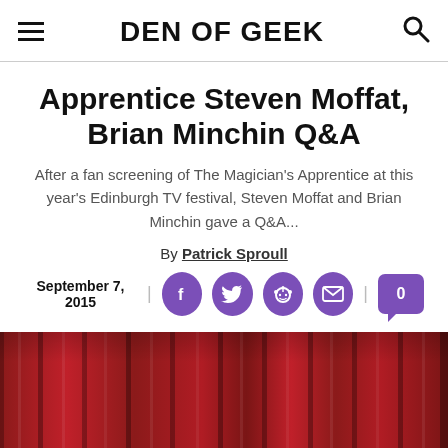DEN OF GEEK
Apprentice Steven Moffat, Brian Minchin Q&A
After a fan screening of The Magician's Apprentice at this year's Edinburgh TV festival, Steven Moffat and Brian Minchin gave a Q&A...
By Patrick Sproull
September 7, 2015
[Figure (photo): Red curtain background with a person partially visible at the bottom right]